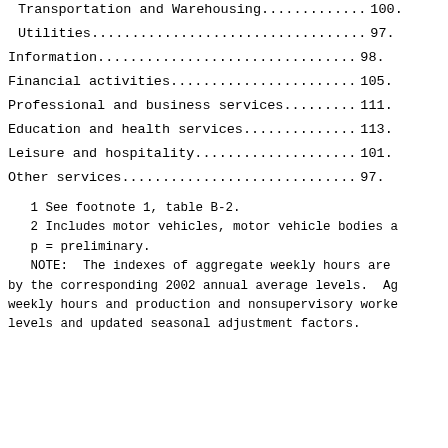Transportation and Warehousing............. 100.
Utilities................................. 97.
Information............................... 98.
Financial activities...................... 105.
Professional and business services......... 111.
Education and health services.............. 113.
Leisure and hospitality................... 101.
Other services............................ 97.
1 See footnote 1, table B-2.
2 Includes motor vehicles, motor vehicle bodies a
p = preliminary.
NOTE:  The indexes of aggregate weekly hours are
by the corresponding 2002 annual average levels.  Ag
weekly hours and production and nonsupervisory worke
levels and updated seasonal adjustment factors.